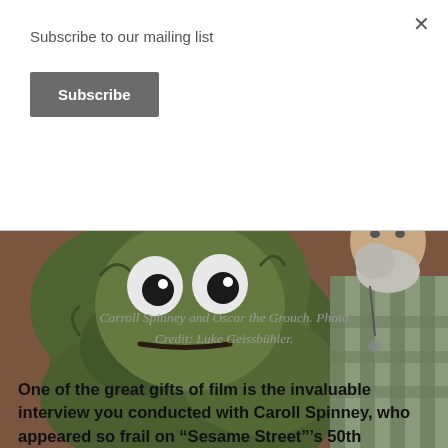Subscribe to our mailing list
Subscribe
[Figure (photo): Carroll Spinney and Oscar the Grouch puppet, photo shows the large green furry Muppet character next to an elderly man in a plaid shirt]
Carroll Spinney and Oscar the Grouch. Photo Credit: Luke Geissbühler.
One of the great gifts of film is the invaluable interview you conducted with Caroll Spinney, who appeared so frail on “Sesame Street”’s 50th anniversary special in late 2019, and